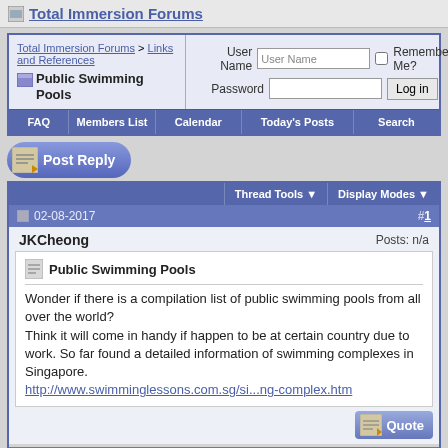Total Immersion Forums
Total Immersion Forums > Links and References
Public Swimming Pools
User Name | Password | Remember Me? | Log in
FAQ  Members List  Calendar  Today's Posts  Search
[Figure (screenshot): Post Reply button]
Thread Tools ▼  Display Modes ▼
02-08-2017  #1
JKCheong  Posts: n/a
Public Swimming Pools
Wonder if there is a compilation list of public swimming pools from all over the world?
Think it will come in handy if happen to be at certain country due to work. So far found a detailed information of swimming complexes in Singapore.
http://www.swimminglessons.com.sg/si...ng-complex.htm
02-08-2017  #2